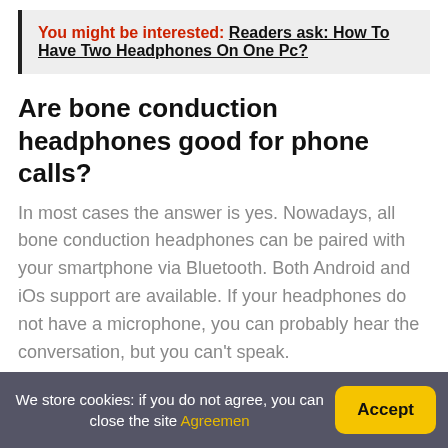You might be interested: Readers ask: How To Have Two Headphones On One Pc?
Are bone conduction headphones good for phone calls?
In most cases the answer is yes. Nowadays, all bone conduction headphones can be paired with your smartphone via Bluetooth. Both Android and iOs support are available. If your headphones do not have a microphone, you can probably hear the conversation, but you can't speak.
Where do you put bone conduction headphones?
We store cookies: if you do not agree, you can close the site Agreemen